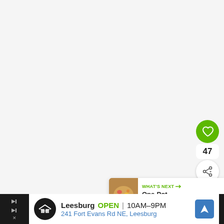[Figure (screenshot): White/light grey main content area of a webpage, mostly blank]
[Figure (infographic): Floating action buttons on right side: green heart/like button, count '47', and white share button with share icon]
47
[Figure (infographic): What's Next card showing a food thumbnail image with label 'WHAT'S NEXT →' and title 'One-Pot Creamy...']
WHAT'S NEXT → One-Pot Creamy...
[Figure (infographic): Advertisement bar at the bottom showing Leesburg store location: OPEN 10AM-9PM, 241 Fort Evans Rd NE, Leesburg, with navigation icon and close button]
Leesburg OPEN | 10AM–9PM 241 Fort Evans Rd NE, Leesburg